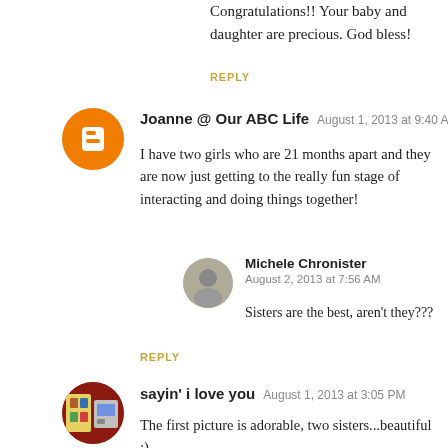Congratulations!! Your baby and daughter are precious. God bless!
REPLY
Joanne @ Our ABC Life  August 1, 2013 at 9:40 AM
I have two girls who are 21 months apart and they are now just getting to the really fun stage of interacting and doing things together!
Michele Chronister
August 2, 2013 at 7:56 AM
Sisters are the best, aren't they???
REPLY
sayin' i love you  August 1, 2013 at 3:05 PM
The first picture is adorable, two sisters...beautiful :)
REPLY